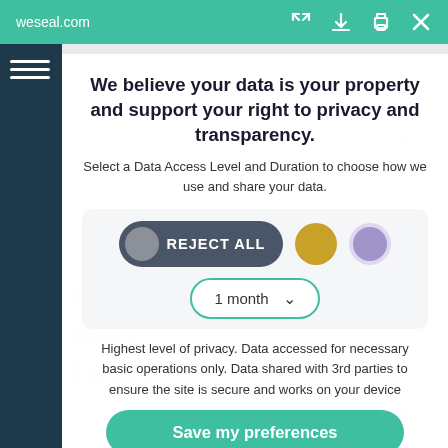weseal.com
We believe your data is your property and support your right to privacy and transparency.
Select a Data Access Level and Duration to choose how we use and share your data.
[Figure (screenshot): Privacy consent modal with Reject All button, two colored circles (gold and purple), a 1 month dropdown selector, and a Save my preferences button.]
Highest level of privacy. Data accessed for necessary basic operations only. Data shared with 3rd parties to ensure the site is secure and works on your device
Save my preferences
Customize
Privacy policy